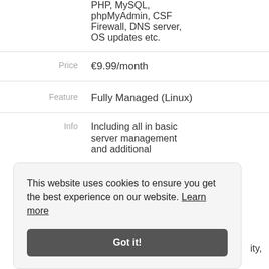| Label | Value |
| --- | --- |
|  | PHP, MySQL, phpMyAdmin, CSF Firewall, DNS server, OS updates etc. |
| Price | €9.99/month |
| Feature | Fully Managed (Linux) |
| Info | Including all in basic server management and additional ...ity, tweaking of web |
This website uses cookies to ensure you get the best experience on our website. Learn more
Got it!